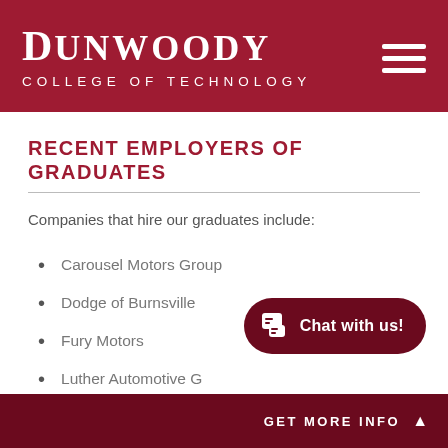Dunwoody College of Technology
RECENT EMPLOYERS OF GRADUATES
Companies that hire our graduates include:
Carousel Motors Group
Dodge of Burnsville
Fury Motors
Luther Automotive G[roup]
Waconia Chrysler Dodge Jeep Ram
GET MORE INFO